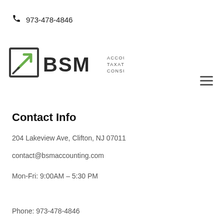973-478-4846
[Figure (logo): BSM Accounting Taxation Consulting logo with green and dark arrow-in-box icon]
Contact Info
204 Lakeview Ave, Clifton, NJ 07011
contact@bsmaccounting.com
Mon-Fri: 9:00AM – 5:30 PM
Phone: 973-478-4846